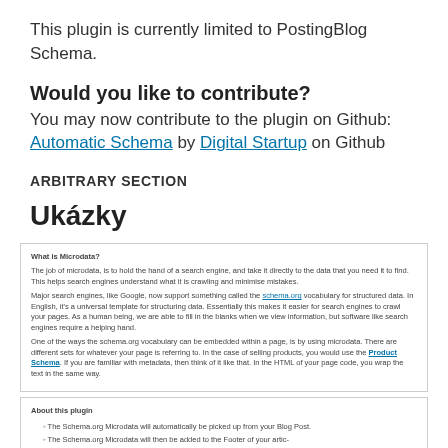This plugin is currently limited to PostingBlog Schema.
Would you like to contribute?
You may now contribute to the plugin on Github: Automatic Schema by Digital Startup on Github
ARBITRARY SECTION
Ukázky
[Figure (screenshot): Screenshot of a webpage section titled 'What is Microdata?' with explanatory text about microdata, schema.org vocabulary, and Product Schema link.]
[Figure (screenshot): Screenshot of a webpage section titled 'About this plugin' with a bulleted list of features about Schema.org Microdata.]